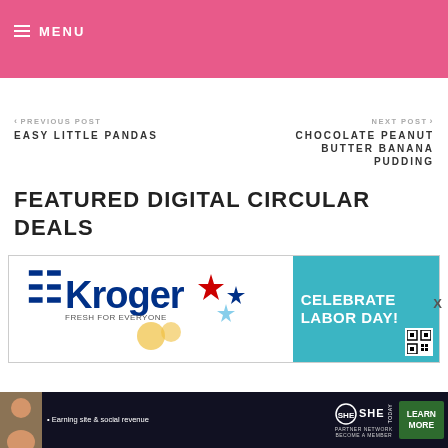≡ MENU
< PREVIOUS POST
EASY LITTLE PANDAS
NEXT POST >
CHOCOLATE PEANUT BUTTER BANANA PUDDING
FEATURED DIGITAL CIRCULAR DEALS
[Figure (screenshot): Kroger Fresh for Everyone advertisement with blue logo on left and teal panel on right reading CELEBRATE LABOR DAY!]
[Figure (screenshot): SHE Partner Network advertisement with woman, dot bullet Earning site & social revenue, logo, and LEARN MORE button]